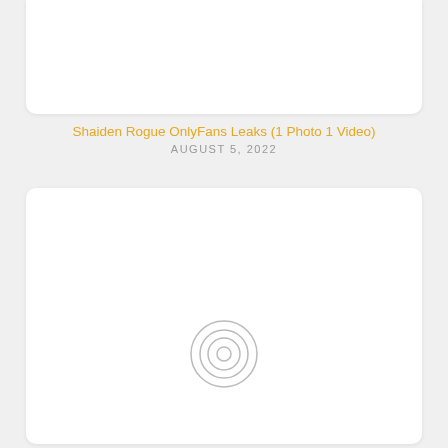[Figure (screenshot): Top portion of a white card element with rounded bottom corners, representing a content card above the title]
Shaiden Rogue OnlyFans Leaks (1 Photo 1 Video)
AUGUST 5, 2022
[Figure (screenshot): A white card with rounded corners showing a video placeholder with a circular camera/record icon (concentric circles with inner circle) near the bottom center]